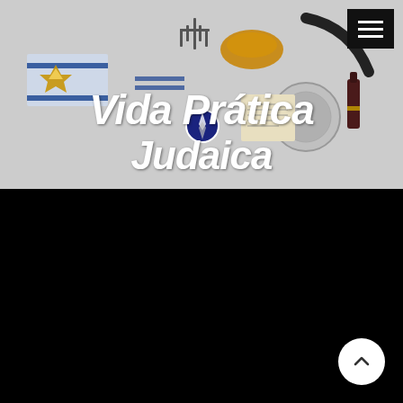[Figure (photo): Website header banner showing Jewish ritual objects laid out flat on a light gray background, with overlay text 'Vida Prática Judaica' in white italic script. A black hamburger menu button is in the top-right corner.]
Vida Prática
Judaica
[Figure (screenshot): Lower half of webpage showing a fully black/dark content area with a white circular back-to-top arrow button in the bottom-right corner.]